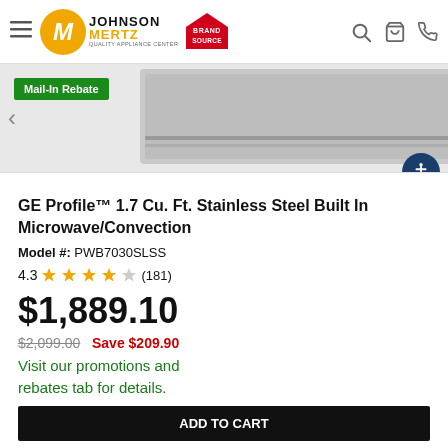Johnson Mertz Quality Appliance Center - Brand Source
[Figure (photo): Partial view of GE Profile stainless steel built-in microwave/convection oven product image with Mail-In Rebate badge]
GE Profile™ 1.7 Cu. Ft. Stainless Steel Built In Microwave/Convection
Model #: PWB7030SLSS
4.3 ★★★★☆ (181)
$1,889.10
$2,099.00  Save $209.90
Visit our promotions and rebates tab for details.